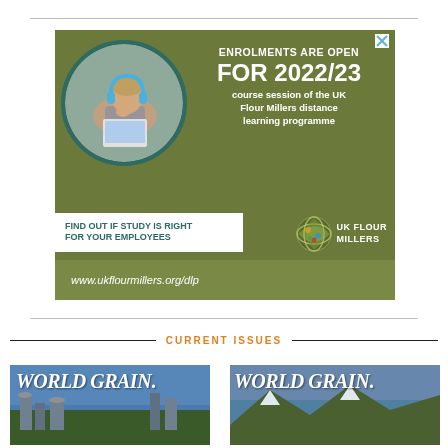[Figure (infographic): UK Flour Millers advertisement: Enrolments are open for 2022/23 course session of the UK Flour Millers distance learning programme. Find out if study is right for your employees. www.ukflourmillers.org/dlp. Features a circular photo of a man with headphones at a laptop, and the UK Flour Millers logo.]
CURRENT ISSUES
[Figure (photo): World Grain magazine cover (left)]
[Figure (photo): World Grain magazine cover (right)]